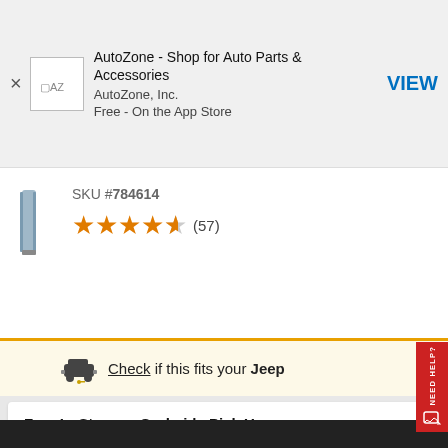[Figure (screenshot): App install banner for AutoZone app with AZ logo icon, title, publisher, and VIEW button]
SKU #784614
[Figure (other): Product image - small vertical item]
★★★★★ (57) - 4.5 star rating with 57 reviews
Check if this fits your Jeep
Free In-Store or Curbside Pick Up
SELECT STORE
Home Delivery
Standard Delivery
Est. Delivery Sep. 05-06